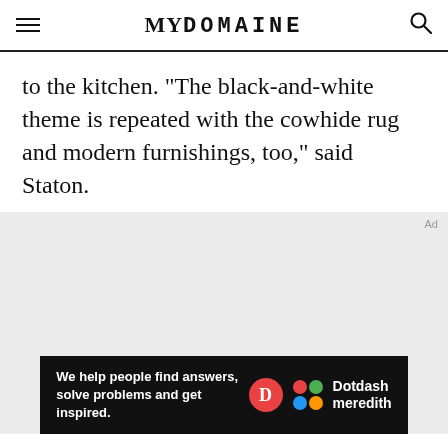MYDOMAINE
to the kitchen. "The black-and-white theme is repeated with the cowhide rug and modern furnishings, too," said Staton.
[Figure (other): Gray placeholder area for an image, with an Ad label in the top right corner and a Dotdash Meredith advertisement banner at the bottom reading: We help people find answers, solve problems and get inspired.]